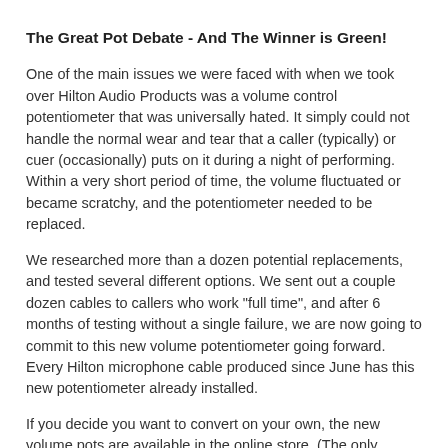The Great Pot Debate - And The Winner is Green!
One of the main issues we were faced with when we took over Hilton Audio Products was a volume control potentiometer that was universally hated. It simply could not handle the normal wear and tear that a caller (typically) or cuer (occasionally) puts on it during a night of performing. Within a very short period of time, the volume fluctuated or became scratchy, and the potentiometer needed to be replaced.
We researched more than a dozen potential replacements, and tested several different options. We sent out a couple dozen cables to callers who work "full time", and after 6 months of testing without a single failure, we are now going to commit to this new volume potentiometer going forward. Every Hilton microphone cable produced since June has this new potentiometer already installed.
If you decide you want to convert on your own, the new volume pots are available in the online store. (The only modification you will have